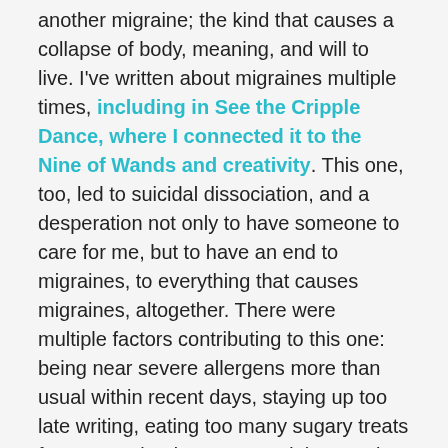another migraine; the kind that causes a collapse of body, meaning, and will to live. I've written about migraines multiple times, including in See the Cripple Dance, where I connected it to the Nine of Wands and creativity. This one, too, led to suicidal dissociation, and a desperation not only to have someone to care for me, but to have an end to migraines, to everything that causes migraines, altogether. There were multiple factors contributing to this one: being near severe allergens more than usual within recent days, staying up too late writing, eating too many sugary treats from a nearby dumpster, and then coping with a rebellion of the plumbing system in the almost 100-year building where I live.
A...